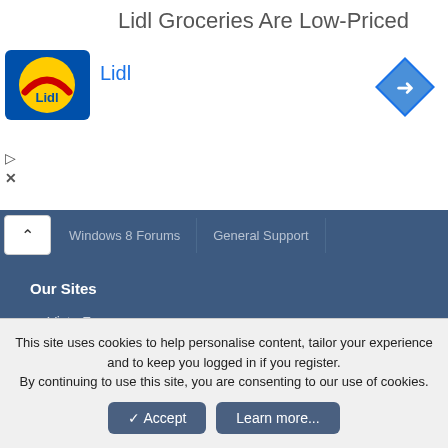Lidl Groceries Are Low-Priced
[Figure (logo): Lidl logo — yellow circle with red arc on blue background]
Lidl
[Figure (illustration): Blue diamond navigation arrow icon]
▷
✕
Windows 8 Forums   General Support
Our Sites
Vista Forums
Seven Forums
Ten Forums
Eleven Forums
This site uses cookies to help personalise content, tailor your experience and to keep you logged in if you register.
By continuing to use this site, you are consenting to our use of cookies.
✓ Accept   Learn more...